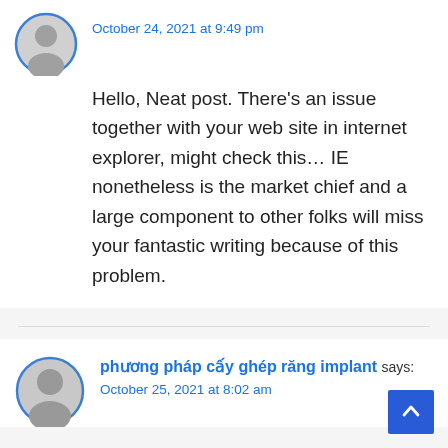October 24, 2021 at 9:49 pm
Hello, Neat post. There’s an issue together with your web site in internet explorer, might check this… IE nonetheless is the market chief and a large component to other folks will miss your fantastic writing because of this problem.
phuơng pháp cấy ghép răng implant says:
October 25, 2021 at 8:02 am